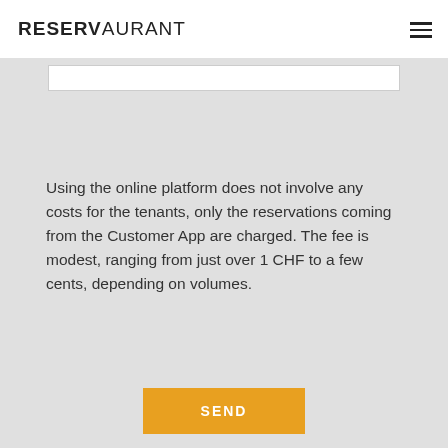RESERVAURANT
Using the online platform does not involve any costs for the tenants, only the reservations coming from the Customer App are charged. The fee is modest, ranging from just over 1 CHF to a few cents, depending on volumes.